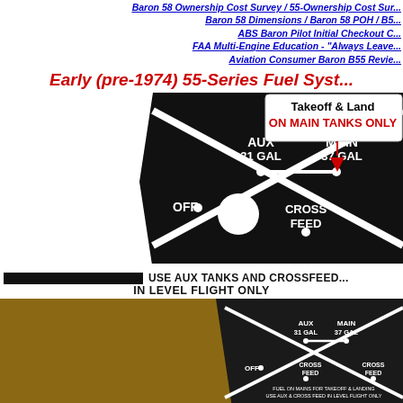Baron 58 Dimensions / Baron 58 POH / B5... / ABS Baron Pilot Initial Checkout C... / FAA Multi-Engine Education - "Always Leave... / Aviation Consumer Baron B55 Revie...
Early (pre-1974) 55-Series Fuel System
[Figure (schematic): Fuel selector panel diagram for early pre-1974 55-Series showing AUX 31 GAL and MAIN 37 GAL positions with X-pattern lines, OFF dot, CROSS FEED position, and annotation arrow pointing to MAIN with text 'Takeoff & Land ON MAIN TANKS ONLY']
USE AUX TANKS AND CROSSFEED IN LEVEL FLIGHT ONLY
[Figure (photo): Photograph of actual fuel selector panel showing AUX 31 GAL, MAIN 37 GAL, CROSS FEED labels and a WARNING placard reading: POSITION SELECTORS IN DETENTS ONLY / NO FUEL FLOW TO ENGINES BETWEEN DETENTS]